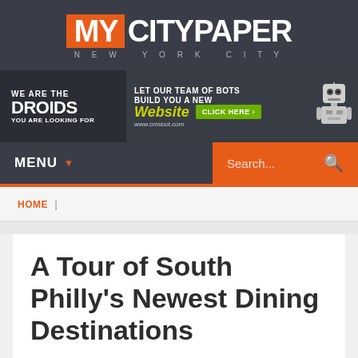[Figure (logo): MY CITY PAPER NEW YORK CITY logo with orange MY box and white CITYPAPER text on dark background]
[Figure (infographic): Advertisement banner: We are the Droids you are looking for / Let our team of bots build you a new Website / Click Here / www.cmsbot.com with robot graphic]
MENU | Search...
HOME |
A Tour of South Philly's Newest Dining Destinations